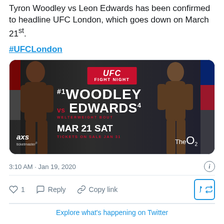Tyron Woodley vs Leon Edwards has been confirmed to headline UFC London, which goes down on March 21st.
#UFCLondon
[Figure (photo): UFC Fight Night promotional image for Woodley vs Edwards at The O2, London on March 21, Saturday. AXS/Ticketmaster. Tickets on sale Jan 31.]
3:10 AM · Jan 19, 2020
1  Reply  Copy link